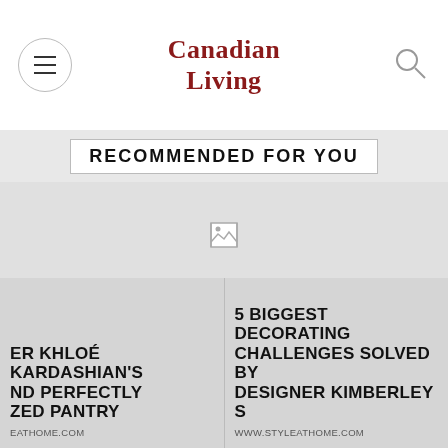Canadian Living
RECOMMENDED FOR YOU
[Figure (photo): Broken image placeholder in the center of a gray content area]
ER KHLOÉ KARDASHIAN'S ND PERFECTLY ZED PANTRY EATHOME.COM
5 BIGGEST DECORATING CHALLENGES SOLVED BY DESIGNER KIMBERLEY S WWW.STYLEATHOME.COM